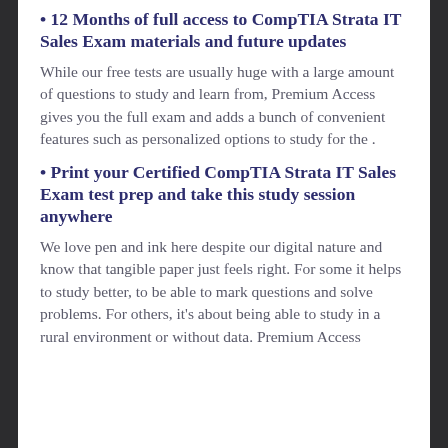• 12 Months of full access to CompTIA Strata IT Sales Exam materials and future updates
While our free tests are usually huge with a large amount of questions to study and learn from, Premium Access gives you the full exam and adds a bunch of convenient features such as personalized options to study for the .
• Print your Certified CompTIA Strata IT Sales Exam test prep and take this study session anywhere
We love pen and ink here despite our digital nature and know that tangible paper just feels right. For some it helps to study better, to be able to mark questions and solve problems. For others, it's about being able to study in a rural environment or without data. Premium Access